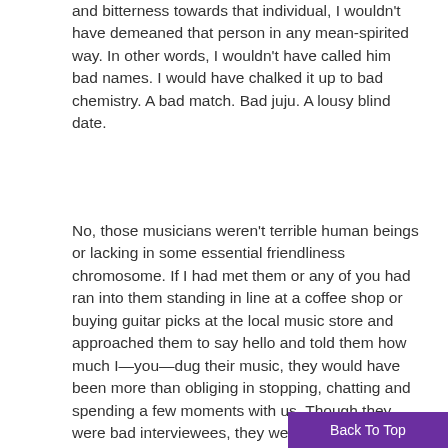and bitterness towards that individual, I wouldn't have demeaned that person in any mean-spirited way. In other words, I wouldn't have called him bad names. I would have chalked it up to bad chemistry. A bad match. Bad juju. A lousy blind date.
No, those musicians weren't terrible human beings or lacking in some essential friendliness chromosome. If I had met them or any of you had ran into them standing in line at a coffee shop or buying guitar picks at the local music store and approached them to say hello and told them how much I—you—dug their music, they would have been more than obliging in stopping, chatting and spending a few moments with us. Though they were bad interviewees, they were nonetheless normal people having bad days or were simply uncomfortable in my presence. For them it w...
Back To Top